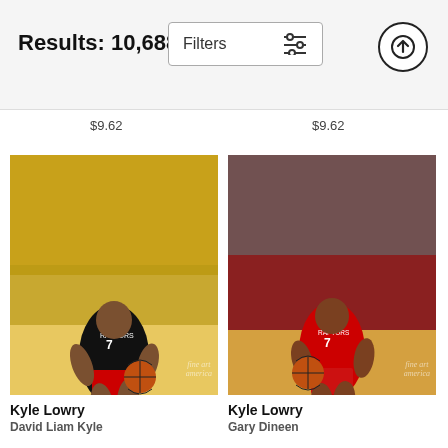Results: 10,688  Filters
$9.62
$9.62
[Figure (photo): Kyle Lowry #7 Toronto Raptors player in black jersey dribbling basketball in crowded arena]
[Figure (photo): Kyle Lowry #7 Toronto Raptors player in red jersey dribbling basketball in arena]
Kyle Lowry
David Liam Kyle
Kyle Lowry
Gary Dineen